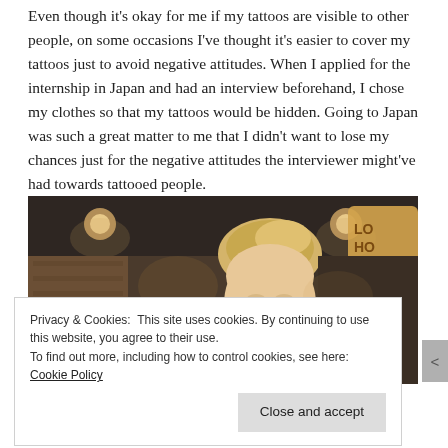Even though it's okay for me if my tattoos are visible to other people, on some occasions I've thought it's easier to cover my tattoos just to avoid negative attitudes. When I applied for the internship in Japan and had an interview beforehand, I chose my clothes so that my tattoos would be hidden. Going to Japan was such a great matter to me that I didn't want to lose my chances just for the negative attitudes the interviewer might've had towards tattooed people.
[Figure (photo): A young blonde woman looking downward in a dimly lit restaurant or café setting with warm ambient lighting and a sign partially visible in the upper right.]
Privacy & Cookies: This site uses cookies. By continuing to use this website, you agree to their use.
To find out more, including how to control cookies, see here: Cookie Policy